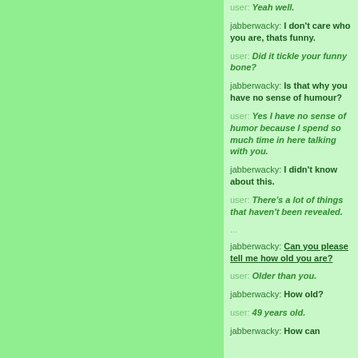user: Yeah well.
jabberwacky: I don't care who you are, thats funny.
user: Did it tickle your funny bone?
jabberwacky: Is that why you have no sense of humour?
user: Yes I have no sense of humor because I spend so much time in here talking with you.
jabberwacky: I didn't know about this.
user: There's a lot of things that haven't been revealed.
...
jabberwacky: Can you please tell me how old you are?
user: Older than you.
jabberwacky: How old?
user: 49 years old.
jabberwacky: How can